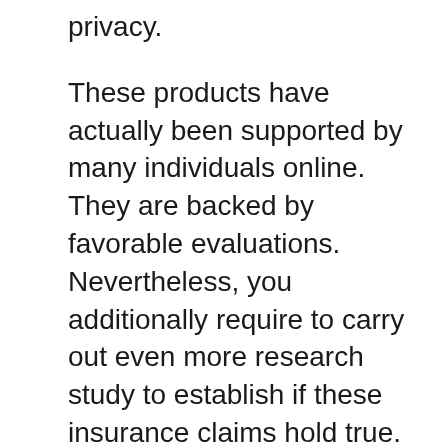privacy.
These products have actually been supported by many individuals online. They are backed by favorable evaluations. Nevertheless, you additionally require to carry out even more research study to establish if these insurance claims hold true. You ought to constantly compare as well as contrast various products before choosing.
This article addresses a topic that many men avoid- penis dimension. Many guys really feel uncomfortable reviewing this topic but deep inside they are insecure regarding their penis size. They can not also open up to medical professionals; as a result, the problem stays unsettled.